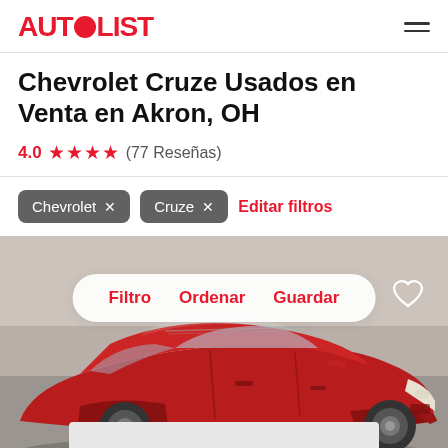AUTOLIST
Chevrolet Cruze Usados en Venta en Akron, OH
4.0 ★★★★ (77 Reseñas)
Chevrolet ×
Cruze ×
Editar filtros
[Figure (photo): Red Chevrolet Cruze sedan parked indoors, front three-quarter view, with filter/sort overlay pill showing Filtro, Ordenar, Guardar and a heart icon in the top right corner.]